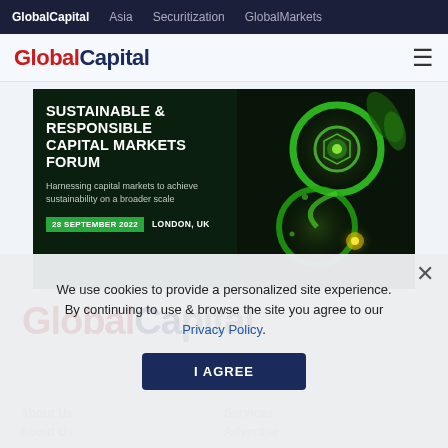GlobalCapital  Asia  Securitization  GlobalMarkets
GlobalCapital
[Figure (infographic): Sustainable & Responsible Capital Markets Forum banner. Dark green background with glowing green fractal/DNA ornament on right. Text: SUSTAINABLE & RESPONSIBLE CAPITAL MARKETS FORUM. Harnessing capital markets to achieve sustainability on a broader scale. 28 SEPTEMBER 2022  LONDON, UK]
We use cookies to provide a personalized site experience. By continuing to use & browse the site you agree to our Privacy Policy.
I AGREE
About Us
Services
About Us
Advertise